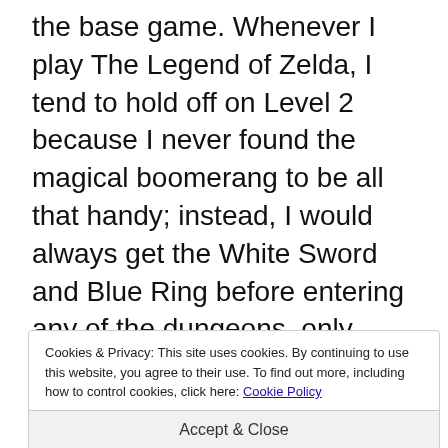the base game. Whenever I play The Legend of Zelda, I tend to hold off on Level 2 because I never found the magical boomerang to be all that handy; instead, I would always get the White Sword and Blue Ring before entering any of the dungeons, only completing Level 2 when I needed Heart Containers for the Magical Sword. However, that early speedrunner ended up completing Level 2 f b a
Cookies & Privacy: This site uses cookies. By continuing to use this website, you agree to their use. To find out more, including how to control cookies, click here: Cookie Policy

Accept & Close
Come to think of it, this also reminds me of